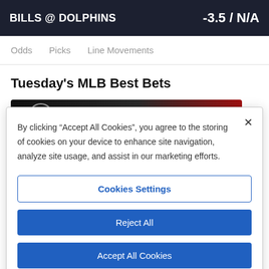BILLS @ DOLPHINS   -3.5 / N/A
Odds   Picks   Line Movements
Tuesday's MLB Best Bets
[Figure (screenshot): Thumbnail image strip showing a dark background with a red accent]
By clicking “Accept All Cookies”, you agree to the storing of cookies on your device to enhance site navigation, analyze site usage, and assist in our marketing efforts.
Cookies Settings
Reject All
Accept All Cookies